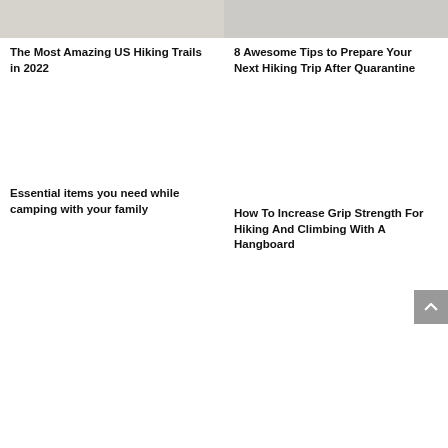[Figure (photo): Partial photo of a hiking trail scene, top-left card]
[Figure (photo): Partial photo of a hiking/outdoor scene, top-right card]
The Most Amazing US Hiking Trails in 2022
8 Awesome Tips to Prepare Your Next Hiking Trip After Quarantine
[Figure (photo): Photo placeholder for camping article, bottom-left card]
[Figure (photo): Photo placeholder for grip strength article, bottom-right card]
Essential items you need while camping with your family
How To Increase Grip Strength For Hiking And Climbing With A Hangboard